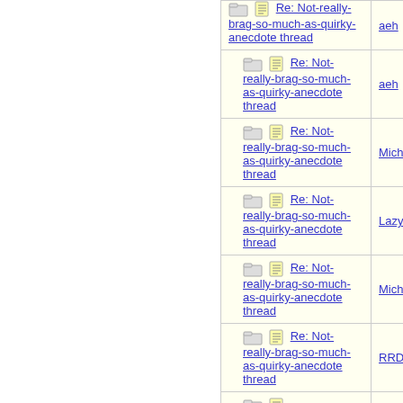| Thread | Author |
| --- | --- |
| Re: Not-really-brag-so-much-as-quirky-anecdote thread | aeh |
| Re: Not-really-brag-so-much-as-quirky-anecdote thread | aeh |
| Re: Not-really-brag-so-much-as-quirky-anecdote thread | Michaela |
| Re: Not-really-brag-so-much-as-quirky-anecdote thread | LazyMum |
| Re: Not-really-brag-so-much-as-quirky-anecdote thread | Michaela |
| Re: Not-really-brag-so-much-as-quirky-anecdote thread | RRD |